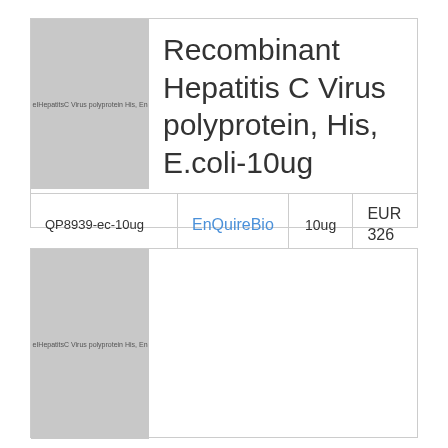[Figure (photo): Gray placeholder image thumbnail for Recombinant Hepatitis C Virus polyprotein, His, E.coli-10ug product, with small text label]
Recombinant Hepatitis C Virus polyprotein, His, E.coli-10ug
| SKU | Brand | Quantity | Price |
| --- | --- | --- | --- |
| QP8939-ec-10ug | EnQuireBio | 10ug | EUR 326 |
[Figure (photo): Gray placeholder image thumbnail for second product listing with small text label]